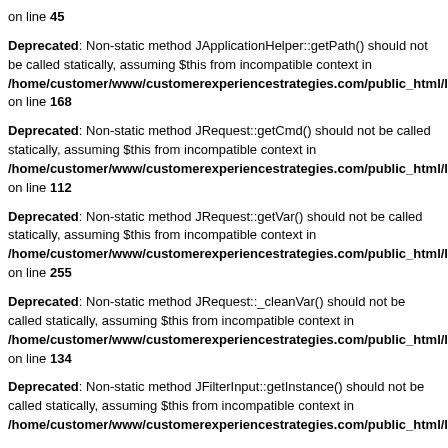on line 45
Deprecated: Non-static method JApplicationHelper::getPath() should not be called statically, assuming $this from incompatible context in /home/customer/www/customerexperiencestrategies.com/public_html/libraries on line 168
Deprecated: Non-static method JRequest::getCmd() should not be called statically, assuming $this from incompatible context in /home/customer/www/customerexperiencestrategies.com/public_html/libraries on line 112
Deprecated: Non-static method JRequest::getVar() should not be called statically, assuming $this from incompatible context in /home/customer/www/customerexperiencestrategies.com/public_html/libraries on line 255
Deprecated: Non-static method JRequest::_cleanVar() should not be called statically, assuming $this from incompatible context in /home/customer/www/customerexperiencestrategies.com/public_html/libraries on line 134
Deprecated: Non-static method JFilterInput::getInstance() should not be called statically, assuming $this from incompatible context in /home/customer/www/customerexperiencestrategies.com/public_html/libraries